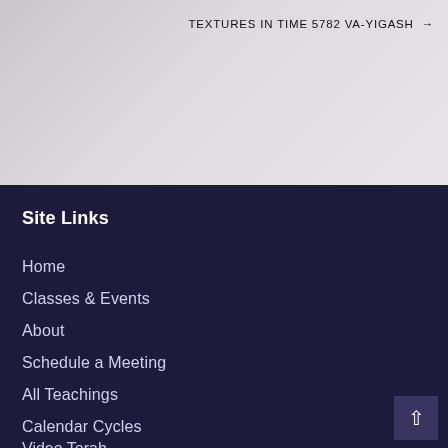TEXTURES IN TIME 5782 VA-YIGASH →
Site Links
Home
Classes & Events
About
Schedule a Meeting
All Teachings
Calendar Cycles
Video Torah